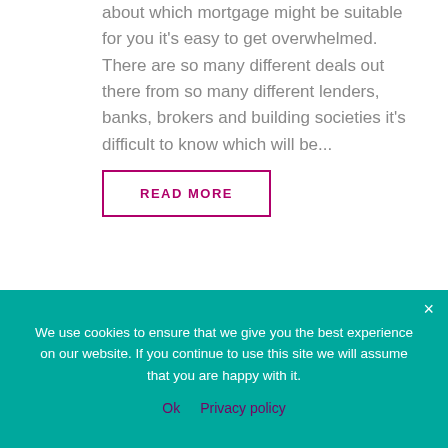about which mortgage might be suitable for you it's easy to get overwhelmed. There are so many different deals out there from so many different lenders, banks, brokers and building societies it's difficult to know which will be...
READ MORE
[Figure (photo): Partial photo of a person sitting, with a plant visible in the background, shown as a strip at the bottom of the content area above the cookie bar.]
We use cookies to ensure that we give you the best experience on our website. If you continue to use this site we will assume that you are happy with it.
Ok   Privacy policy